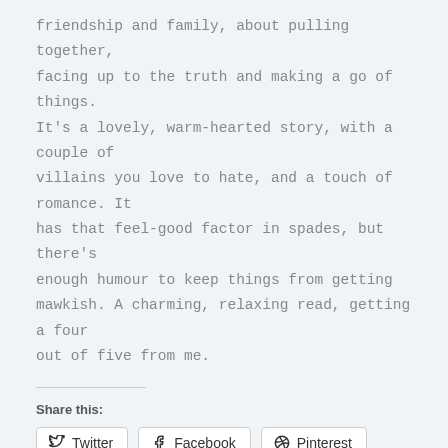friendship and family, about pulling together, facing up to the truth and making a go of things. It's a lovely, warm-hearted story, with a couple of villains you love to hate, and a touch of romance. It has that feel-good factor in spades, but there's enough humour to keep things from getting mawkish. A charming, relaxing read, getting a four out of five from me.
Share this:
Twitter  Facebook  Pinterest
Loading…